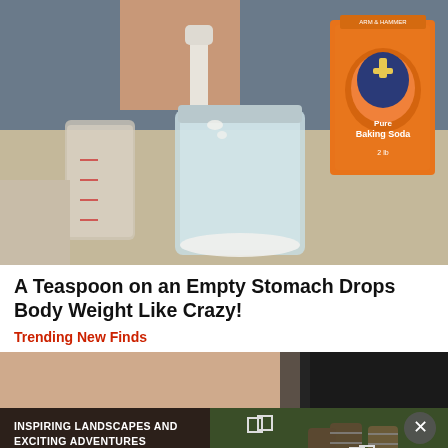[Figure (photo): Person holding an Arm & Hammer Baking Soda box, pouring baking soda into a mason jar on a counter]
A Teaspoon on an Empty Stomach Drops Body Weight Like Crazy!
Trending New Finds
[Figure (photo): Close-up partial image of a person's body, cropped]
[Figure (photo): Advertisement banner: Inspiring Landscapes and Exciting Adventures Abound in Kentucky, with wooden barrels in background and close/fullscreen icons]